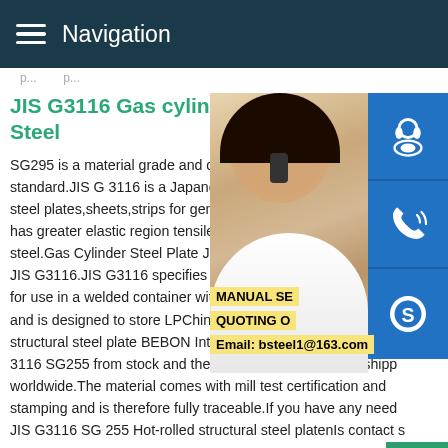Navigation
JIS G3116 Gas cylinder Hot R... Steel
JIS G3116 Gas cylinder Hot R Steel
SG295 is a material grade and designation standard.JIS G 3116 is a Japanese material steel plates,sheets,strips for general gas c has greater elastic region tensile strength steel.Gas Cylinder Steel Plate JIS G3116 JIS G3116.JIS G3116 specifies hot-rolled QUOTING O for use in a welded container with a capace and is designed to store LPChina JIS G3116 SG 255 Hot-rolled structural steel plate BEBON Internatoinal can be support JIS G 3116 SG255 from stock and the material is available for shipp worldwide.The material comes with mill test certification and stamping and is therefore fully traceable.If you have any need JIS G3116 SG 255 Hot-rolled structural steel platenIs contact s
[Figure (photo): Customer service representative woman with headset, smiling, with blue service icons overlaid on the right side (headset/support, phone, and Skype icons), and promotional text overlays reading MANUAL SE, QUOTING O, Email: bsteel1@163.com]